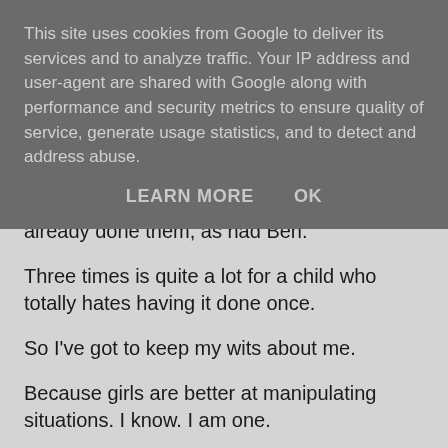This site uses cookies from Google to deliver its services and to analyze traffic. Your IP address and user-agent are shared with Google along with performance and security metrics to ensure quality of service, generate usage statistics, and to detect and address abuse.
LEARN MORE    OK
already done them, as had Ben.
Three times is quite a lot for a child who totally hates having it done once.
So I've got to keep my wits about me.
Because girls are better at manipulating situations. I know. I am one.
Nancy may only be two, but I'm not going to let her catch me out.
It starts with them publically blaiming a fart on you, and ends